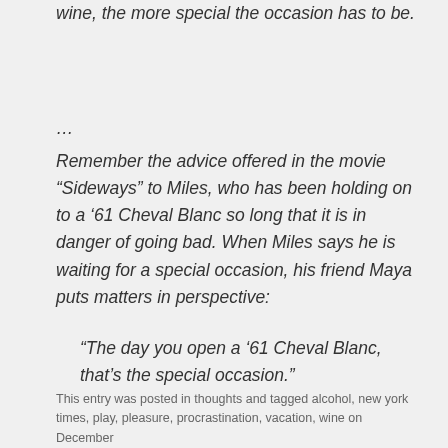wine, the more special the occasion has to be.
…
Remember the advice offered in the movie “Sideways” to Miles, who has been holding on to a ‘61 Cheval Blanc so long that it is in danger of going bad. When Miles says he is waiting for a special occasion, his friend Maya puts matters in perspective:
“The day you open a ‘61 Cheval Blanc, that’s the special occasion.”
This entry was posted in thoughts and tagged alcohol, new york times, play, pleasure, procrastination, vacation, wine on December